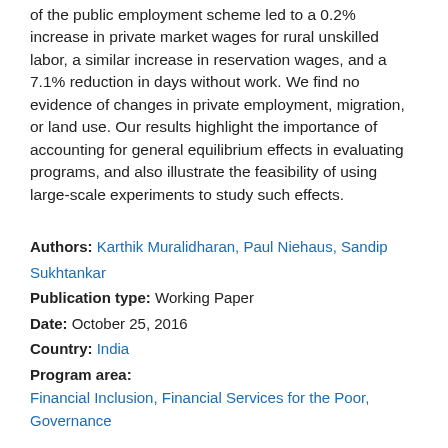of the public employment scheme led to a 0.2% increase in private market wages for rural unskilled labor, a similar increase in reservation wages, and a 7.1% reduction in days without work. We find no evidence of changes in private employment, migration, or land use. Our results highlight the importance of accounting for general equilibrium effects in evaluating programs, and also illustrate the feasibility of using large-scale experiments to study such effects.
Authors: Karthik Muralidharan, Paul Niehaus, Sandip Sukhtankar
Publication type: Working Paper
Date: October 25, 2016
Country: India
Program area:
Financial Inclusion, Financial Services for the Poor, Governance